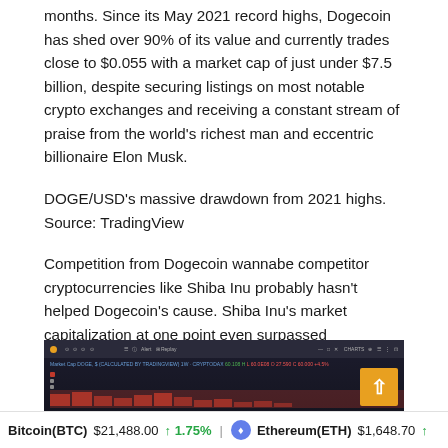months. Since its May 2021 record highs, Dogecoin has shed over 90% of its value and currently trades close to $0.055 with a market cap of just under $7.5 billion, despite securing listings on most notable crypto exchanges and receiving a constant stream of praise from the world's richest man and eccentric billionaire Elon Musk.
DOGE/USD's massive drawdown from 2021 highs. Source: TradingView
Competition from Dogecoin wannabe competitor cryptocurrencies like Shiba Inu probably hasn't helped Dogecoin's cause. Shiba Inu's market capitalization at one point even surpassed Dogecoin's in October 2021 when it hit $54 billion. But SHIB/USD has since also come under severe pressure and currently has a market cap of around $4.5 billion.
[Figure (screenshot): TradingView screenshot showing Market Cap DOGE chart with dark background, red candlestick chart indicating price decline, with orange scroll-to-top button]
Bitcoin(BTC) $21,488.00 ↑ 1.75% | Ethereum(ETH) $1,648.70 ↑